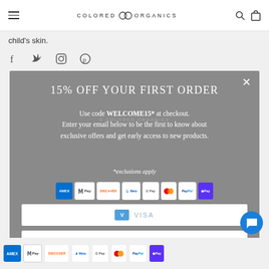COLORED ORGANICS
child's skin.
[Figure (screenshot): Social media icons: Facebook, Twitter, Instagram, Pinterest]
[Figure (infographic): Modal popup with '15% OFF YOUR FIRST ORDER' promotion. Use code WELCOME15* at checkout. Enter your email below to be the first to know about exclusive offers and get early access to new products. *exclusions apply. Email input field with Venmo and Visa icons. SUBSCRIBE button.]
[Figure (screenshot): Payment method badges: AMEX, Apple Pay, Discover, Meta Pay, Google Pay, Mastercard, PayPal, D Pay, Venmo, Visa]